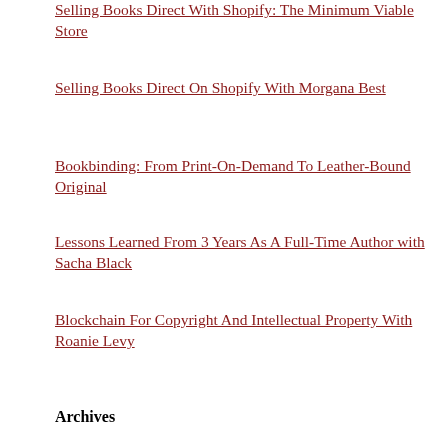Selling Books Direct With Shopify: The Minimum Viable Store
Selling Books Direct On Shopify With Morgana Best
Bookbinding: From Print-On-Demand To Leather-Bound Original
Lessons Learned From 3 Years As A Full-Time Author with Sacha Black
Blockchain For Copyright And Intellectual Property With Roanie Levy
Archives